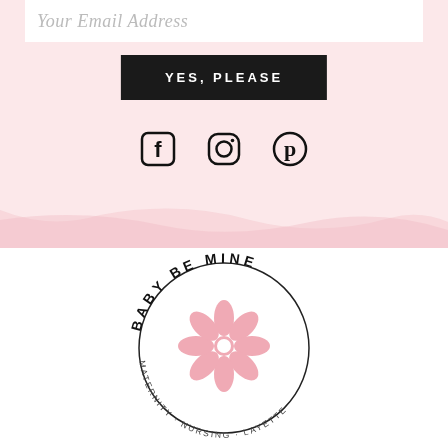Your Email Address
YES, PLEASE
[Figure (infographic): Social media icons: Facebook, Instagram, Pinterest]
[Figure (logo): Baby Be Mine circular logo with flower, text: BABY BE MINE MATERNITY · NURSING · LAYETTE]